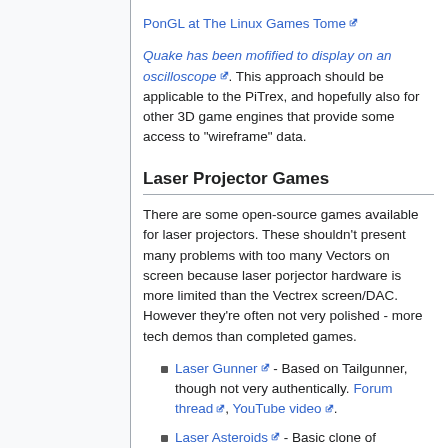PonGL at The Linux Games Tome [external link]
Quake has been mofified to display on an oscilloscope [external link]. This approach should be applicable to the PiTrex, and hopefully also for other 3D game engines that provide some access to "wireframe" data.
Laser Projector Games
There are some open-source games available for laser projectors. These shouldn't present many problems with too many Vectors on screen because laser porjector hardware is more limited than the Vectrex screen/DAC. However they're often not very polished - more tech demos than completed games.
Laser Gunner [external link] - Based on Tailgunner, though not very authentically. Forum thread [external link], YouTube video [external link].
Laser Asteroids [external link] - Basic clone of Asteroids, apparantly doesn't implement the physics as well as the original. Forum thread [external link], YouTube...